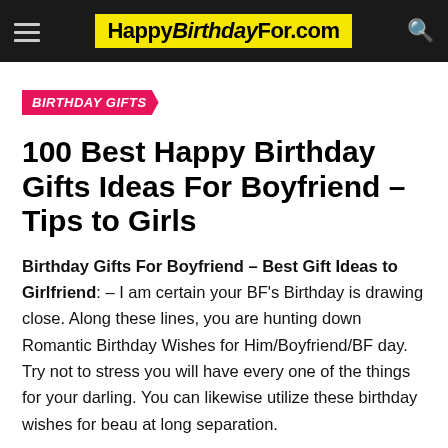HappyBirthdayFor.com
BIRTHDAY GIFTS
100 Best Happy Birthday Gifts Ideas For Boyfriend – Tips to Girls
Birthday Gifts For Boyfriend – Best Gift Ideas to Girlfriend: – I am certain your BF's Birthday is drawing close. Along these lines, you are hunting down Romantic Birthday Wishes for Him/Boyfriend/BF day. Try not to stress you will have every one of the things for your darling. You can likewise utilize these birthday wishes for beau at long separation.
Astonishing you the beauty in various ways is